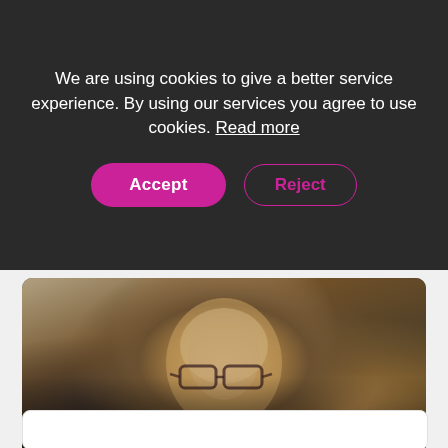We are using cookies to give a better service experience. By using our services you agree to use cookies. Read more
Accept
Reject
[Figure (photo): Profile photo of a woman with short blonde/grey hair and glasses, smiling, wearing a floral top, sitting in what appears to be a café or restaurant setting.]
Hello Literacy (hellojenjones)
https://fi.pinterest.com/hellojenjones/